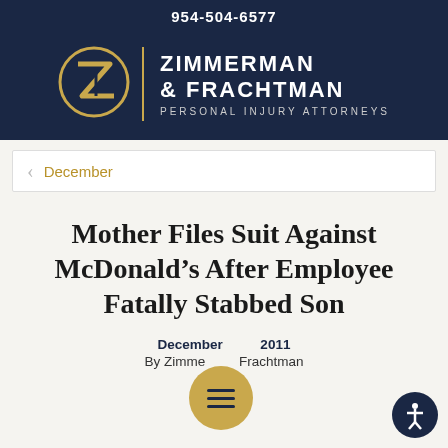954-504-6577
[Figure (logo): Zimmerman & Frachtman Personal Injury Attorneys logo with gold ZF monogram on dark navy background]
December
Mother Files Suit Against McDonald's After Employee Fatally Stabbed Son
December 2011
By Zimmerman & Frachtman